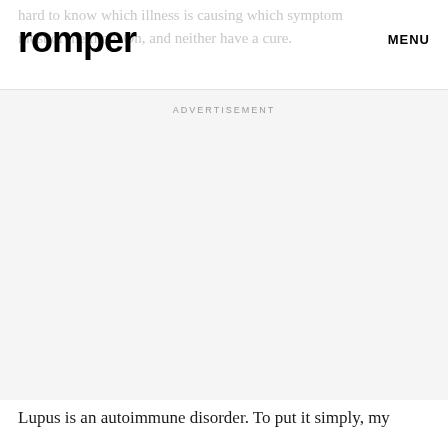romper  MENU
hard to know which illness is causing which symptom most of the time. Oh, and neither have a cure.
ADVERTISEMENT
Lupus is an autoimmune disorder. To put it simply, my